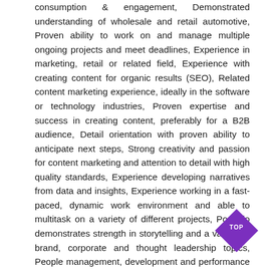consumption & engagement, Demonstrated understanding of wholesale and retail automotive, Proven ability to work on and manage multiple ongoing projects and meet deadlines, Experience in marketing, retail or related field, Experience with creating content for organic results (SEO), Related content marketing experience, ideally in the software or technology industries, Proven expertise and success in creating content, preferably for a B2B audience, Detail orientation with proven ability to anticipate next steps, Strong creativity and passion for content marketing and attention to detail with high quality standards, Experience developing narratives from data and insights, Experience working in a fast-paced, dynamic work environment and able to multitask on a variety of different projects, Portfolio demonstrates strength in storytelling and a variety of brand, corporate and thought leadership topics, People management, development and performance management experience, Responsible for budgets including expense tracking and invoice processing, Conceptualize write content marketing pieces for our consumer facing sites (Feed Your Need To Read and The Lineup), and external